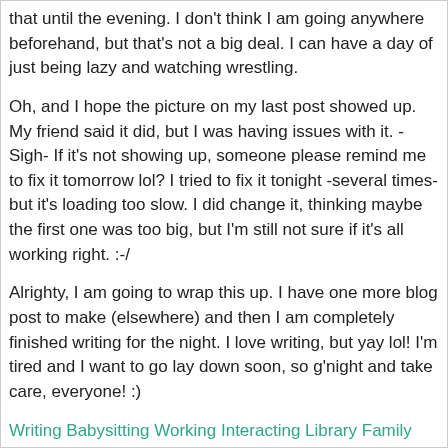that until the evening. I don't think I am going anywhere beforehand, but that's not a big deal. I can have a day of just being lazy and watching wrestling.
Oh, and I hope the picture on my last post showed up. My friend said it did, but I was having issues with it. -Sigh- If it's not showing up, someone please remind me to fix it tomorrow lol? I tried to fix it tonight -several times- but it's loading too slow. I did change it, thinking maybe the first one was too big, but I'm still not sure if it's all working right. :-/
Alrighty, I am going to wrap this up. I have one more blog post to make (elsewhere) and then I am completely finished writing for the night. I love writing, but yay lol! I'm tired and I want to go lay down soon, so g'night and take care, everyone! :)
Writing Babysitting Working Interacting Library Family WWEExtremeRules Weekend Plans Tired Journal Personal Goodnight